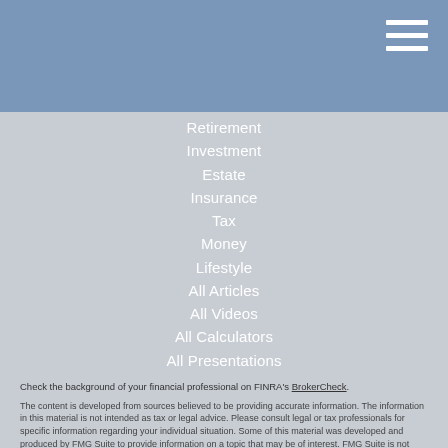[Figure (other): Blue header bar with hamburger menu icon (three horizontal white lines) in top right corner]
Retirement
Investment
Estate
Insurance
Tax
Money
Lifestyle
All Articles
All Videos
All Calculators
All Presentations
Check the background of your financial professional on FINRA's BrokerCheck.
The content is developed from sources believed to be providing accurate information. The information in this material is not intended as tax or legal advice. Please consult legal or tax professionals for specific information regarding your individual situation. Some of this material was developed and produced by FMG Suite to provide information on a topic that may be of interest. FMG Suite is not affiliated with the named representative, broker - dealer, state - or SEC - registered investment advisory firm. The opinions expressed and material provided are for general information, and should not be considered a solicitation for the purchase or sale of any security.